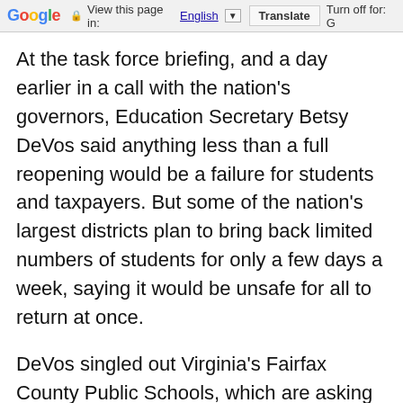Google | View this page in: English [▼] | Translate | Turn off for: G
At the task force briefing, and a day earlier in a call with the nation's governors, Education Secretary Betsy DeVos said anything less than a full reopening would be a failure for students and taxpayers. But some of the nation's largest districts plan to bring back limited numbers of students for only a few days a week, saying it would be unsafe for all to return at once.
DeVos singled out Virginia's Fairfax County Public Schools, which are asking families to decide between fully remote instruction or two days a week at school.